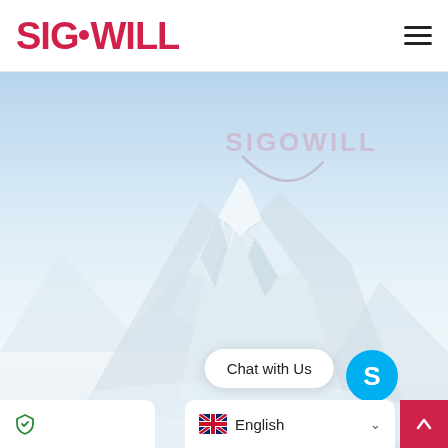[Figure (logo): SIGOWILL company logo in bold red/crimson text with a small dot accent, top-left of header]
[Figure (illustration): Screenshot of SIGOWILL website homepage showing navigation header with hamburger menu, a hero section with a snowy mountain peak against a light blue sky, a faint SIGOWILL watermark with crescent arc, a Chat with Us bubble, Skype button, scroll-up button, privacy icon bar, and English language selector]
Chat with Us
English